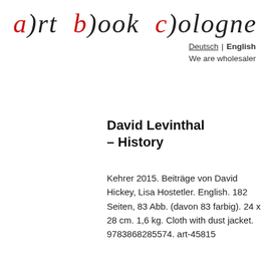a)rt b)ook c)ologne
Deutsch | English
We are wholesaler
David Levinthal – History
Kehrer 2015. Beiträge von David Hickey, Lisa Hostetler. English. 182 Seiten, 83 Abb. (davon 83 farbig). 24 x 28 cm. 1,6 kg. Cloth with dust jacket. 9783868285574. art-45815